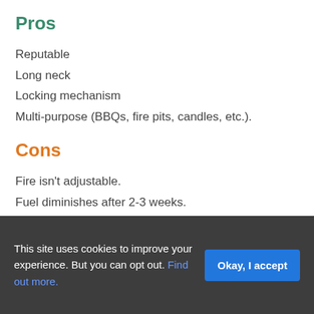Pros
Reputable
Long neck
Locking mechanism
Multi-purpose (BBQs, fire pits, candles, etc.).
Cons
Fire isn't adjustable.
Fuel diminishes after 2-3 weeks.
Sticky trigger can be difficult to press.
What Current Buyers Report
Customers are extremely pleased with the working of this
This site uses cookies to improve your experience. But you can opt out. Find out more.